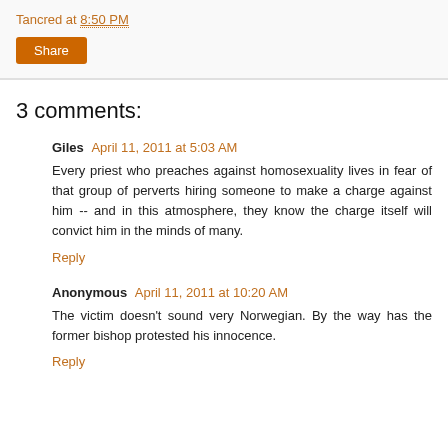Tancred at 8:50 PM
Share
3 comments:
Giles  April 11, 2011 at 5:03 AM
Every priest who preaches against homosexuality lives in fear of that group of perverts hiring someone to make a charge against him -- and in this atmosphere, they know the charge itself will convict him in the minds of many.
Reply
Anonymous  April 11, 2011 at 10:20 AM
The victim doesn't sound very Norwegian. By the way has the former bishop protested his innocence.
Reply